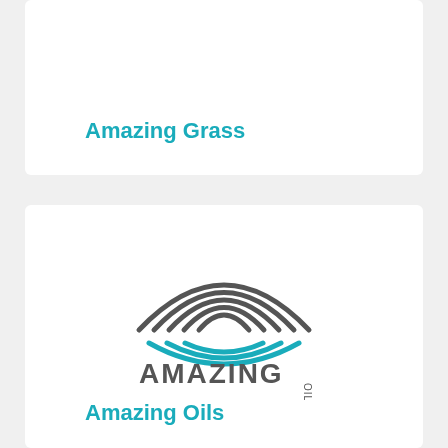Amazing Grass
[Figure (logo): Amazing Oils logo with abstract wave/fingerprint design in gray and teal, text AMAZING OILS below]
Amazing Oils